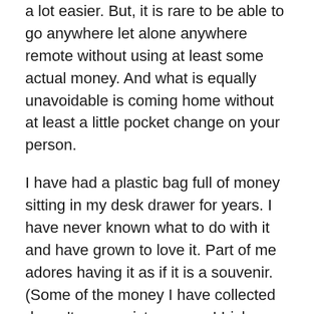a lot easier.  But, it is rare to be able to go anywhere let alone anywhere remote without using at least some actual money.  And what is equally unavoidable is coming home without at least a little pocket change on your person.
I have had a plastic bag full of money sitting in my desk drawer for years.  I have never known what to do with it and have grown to love it.  Part of me adores having it as if it is a souvenir.  (Some of the money I have collected doesn't even exist anymore!  Irish pence, Italian, etc.) Part of me hangs on to the money thinking I will use it again when I go back to that country!
What does one do with their plastic bag full of foreign money?  Well, I did what any rational woman would do.  I consulted Pinterest.  Well, as usual Pinterest makes me feel inadequate because they had a number of wonderful